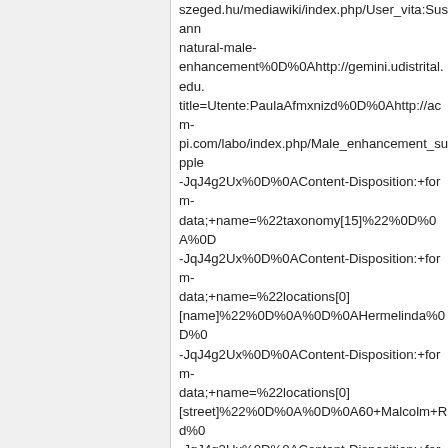szeged.hu/mediawiki/index.php/User_vita:Susann natural-male-enhancement%0D%0Ahttp://gemini.udistrital.edu. title=Utente:PaulaAfmxnizd%0D%0Ahttp://acm-pi.com/labo/index.php/Male_enhancement_supple -JqJ4g2Ux%0D%0AContent-Disposition:+form-data;+name=%22taxonomy[15]%22%0D%0A%0D -JqJ4g2Ux%0D%0AContent-Disposition:+form-data;+name=%22locations[0][name]%22%0D%0A%0D%0AHermelinda%0D%0 -JqJ4g2Ux%0D%0AContent-Disposition:+form-data;+name=%22locations[0][street]%22%0D%0A%0D%0A60+Malcolm+Rd%0 -JqJ4g2Ux%0D%0AContent-Disposition:+form-data;+name=%22locations[0][additional]%22%0D%0A%0D%0A%0D%0A--JqJ4g2Ux%0D%0AContent-Disposition:+form-data;+name=%22locations[0][country]%22%0D%0A%0D%0Amx%0D%0A--JqJ4g2Ux%0D%0AContent-Disposition:+form-data;+name=%22changed%22%0D%0A%0D%0A -JqJ4g2Ux%0D%0AContent-Disposition:+form-data;+name=%22form_build_id%22%0D%0A%0D 8a7150d3ec667fd67fc49b8c1b6d9dda%0D%0A-